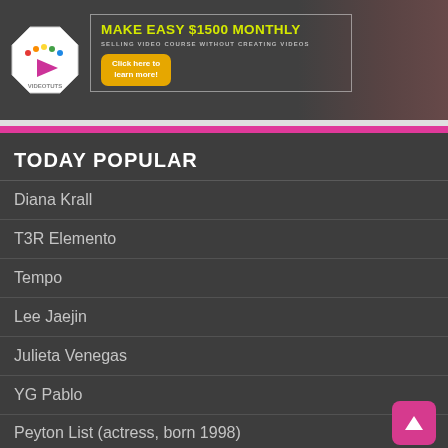[Figure (screenshot): VideoTuts banner advertisement: logo on left (octagon with play button), text in center reading MAKE EASY $1500 MONTHLY, SELLING VIDEO COURSE WITHOUT CREATING VIDEOS, with a yellow-orange button saying Click here to learn more!, and a woman's photo on the right]
TODAY POPULAR
Diana Krall
T3R Elemento
Tempo
Lee Jaejin
Julieta Venegas
YG Pablo
Peyton List (actress, born 1998)